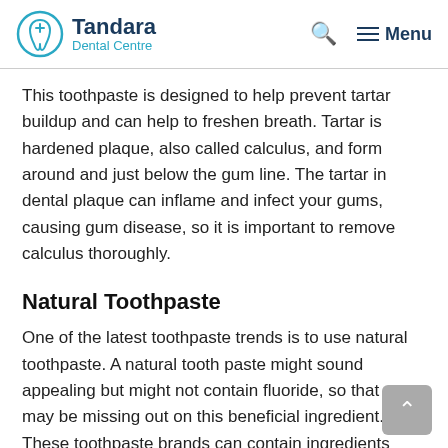Tandara Dental Centre
This toothpaste is designed to help prevent tartar buildup and can help to freshen breath. Tartar is hardened plaque, also called calculus, and form around and just below the gum line. The tartar in dental plaque can inflame and infect your gums, causing gum disease, so it is important to remove calculus thoroughly.
Natural Toothpaste
One of the latest toothpaste trends is to use natural toothpaste. A natural tooth paste might sound appealing but might not contain fluoride, so that you may be missing out on this beneficial ingredient. These toothpaste brands can contain ingredients